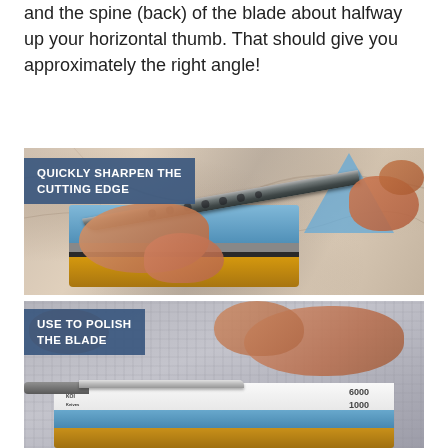and the spine (back) of the blade about halfway up your horizontal thumb. That should give you approximately the right angle!
[Figure (photo): Two-panel instructional photo showing knife sharpening on a whetstone. Top panel labeled 'QUICKLY SHARPEN THE CUTTING EDGE' shows hands holding a damascus-style knife at an angle on a blue/yellow whetstone with a blue triangle angle guide. Bottom panel labeled 'USE TO POLISH THE BLADE' shows hands pressing a knife flat on a white/blue whetstone marked 6000 and 1000 grit, on a bamboo base.]